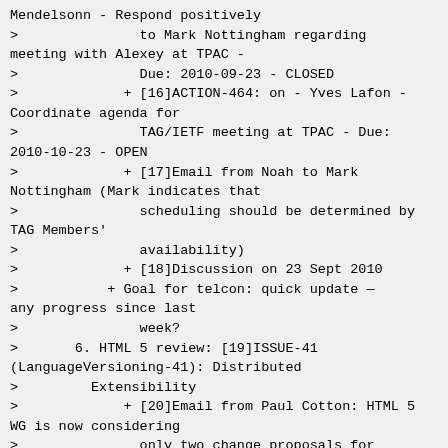Mendelsonn - Respond positively
>               to Mark Nottingham regarding meeting with Alexey at TPAC -
>               Due: 2010-09-23 - CLOSED
>             + [16]ACTION-464: on - Yves Lafon - Coordinate agenda for
>               TAG/IETF meeting at TPAC - Due: 2010-10-23 - OPEN
>             + [17]Email from Noah to Mark Nottingham (Mark indicates that
>               scheduling should be determined by TAG Members'
>               availability)
>             + [18]Discussion on 23 Sept 2010
>           + Goal for telcon: quick update — any progress since last
>               week?
>       6. HTML 5 review: [19]ISSUE-41 (LanguageVersioning-41): Distributed
>         Extensibility
>             + [20]Email from Paul Cotton: HTML 5 WG is now considering
>               only two change proposals for Distributed Extensibility
>               (Extensions "Like SVG" vs. "Zero Edit")
>             + [21]Noah endorses Like SVG and requests TAG consideration
>             + [22]Discussion on 6 May 2010 and